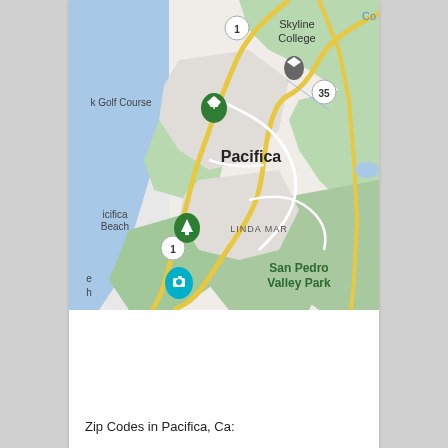[Figure (map): Google Maps view of Pacifica, California showing Skyline College to the north, a golf course on the left (west coast), Pacifica city label in the center, Linda Mar neighborhood, San Pedro Valley Park to the south-east, and Route 1 running along the coast. Green park areas, blue ocean/bay to the west, yellow roads, and various map pins visible.]
Zip Codes in Pacifica, Ca: